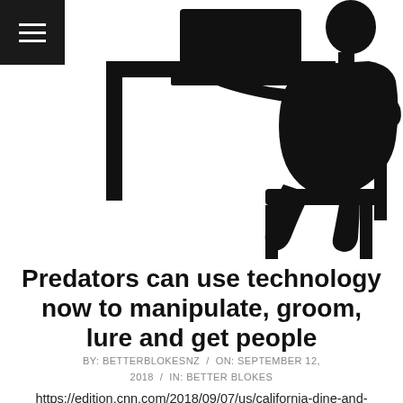[Figure (illustration): Silhouette of a person hunched over a laptop at a desk, viewed from the side. Black silhouette on white background. A hamburger menu icon (three white horizontal lines) appears in a black square in the top-left corner.]
Predators can use technology now to manipulate, groom, lure and get people
BY: BETTERBLOKESNZ / ON: SEPTEMBER 12, 2018 / IN: BETTER BLOKES
https://edition.cnn.com/2018/09/07/us/california-dine-and-dash-additional-charges/index.html?utm_medium=social&utm_source=twCNN&utm_term=09-08T22%3A15%3A08 I've had friends who've been very successful with online dating, I've had some not so good experiences," Meredith told